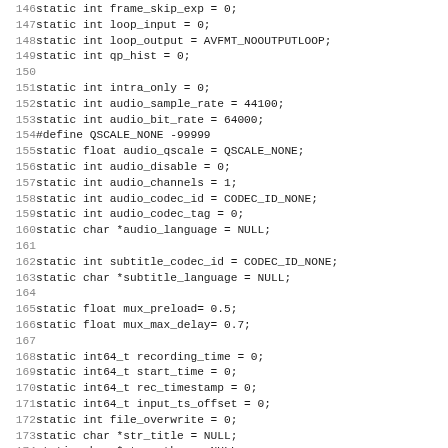Code listing lines 146-178: C source code variable declarations including loop_input, loop_output, qp_hist, intra_only, audio_sample_rate, audio_bit_rate, QSCALE_NONE define, audio_qscale, audio_disable, audio_channels, audio_codec_id, audio_codec_tag, audio_language, subtitle_codec_id, subtitle_language, mux_preload, mux_max_delay, recording_time, start_time, rec_timestamp, input_ts_offset, file_overwrite, str_title, str_author, str_copyright, str_comment, str_album, do_benchmark